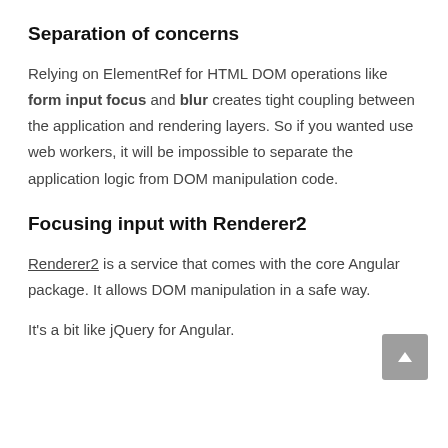Separation of concerns
Relying on ElementRef for HTML DOM operations like form input focus and blur creates tight coupling between the application and rendering layers. So if you wanted use web workers, it will be impossible to separate the application logic from DOM manipulation code.
Focusing input with Renderer2
Renderer2 is a service that comes with the core Angular package. It allows DOM manipulation in a safe way.
It's a bit like jQuery for Angular.